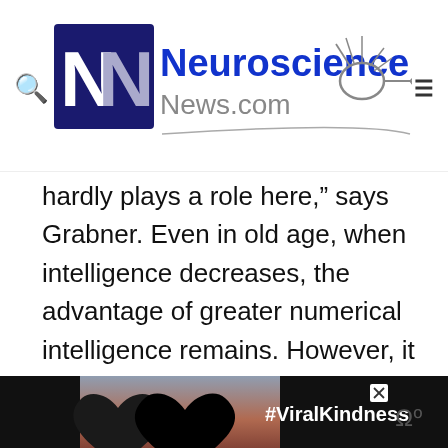Neuroscience News.com
hardly plays a role here,” says Grabner. Even in old age, when intelligence decreases, the advantage of greater numerical intelligence remains. However, it is still not a substitute for practice.
[Figure (photo): Advertisement banner showing hands forming a heart shape against a sunset sky with text #ViralKindness]
[Figure (photo): Bottom advertisement bar showing hands forming a heart shape against a sunset with text #ViralKindness on dark background]